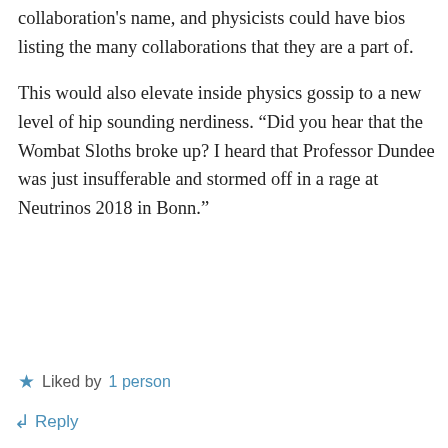collaboration's name, and physicists could have bios listing the many collaborations that they are a part of.
This would also elevate inside physics gossip to a new level of hip sounding nerdiness. “Did you hear that the Wombat Sloths broke up? I heard that Professor Dundee was just insufferable and stormed off in a rage at Neutrinos 2018 in Bonn.”
★ Liked by 1 person
↵ Reply
ohwilleke on April 16, 2018 at 3:15 pm
Of course. No solution is perfect.
https://www.theonion.com/manager-of-